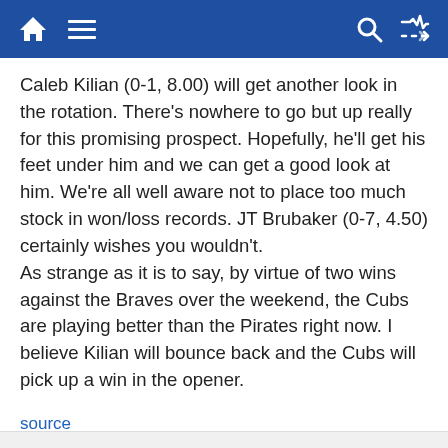Navigation bar with home, menu, search, and shuffle icons
Caleb Kilian (0-1, 8.00) will get another look in the rotation. There's nowhere to go but up really for this promising prospect. Hopefully, he'll get his feet under him and we can get a good look at him. We're all well aware not to place too much stock in won/loss records. JT Brubaker (0-7, 4.50) certainly wishes you wouldn't.
As strange as it is to say, by virtue of two wins against the Braves over the weekend, the Cubs are playing better than the Pirates right now. I believe Kilian will bounce back and the Cubs will pick up a win in the opener.
source
Post Views: 16
◄ 2022 Tu...    Why is th...